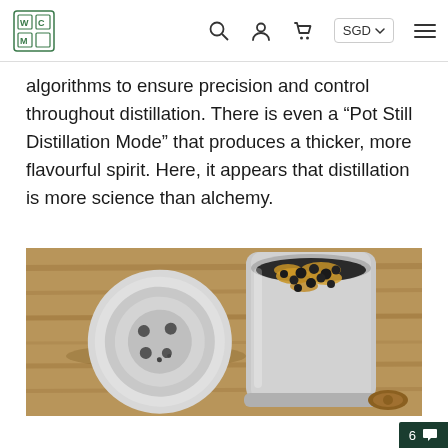Navigation bar with logo, search, account, cart icons, SGD selector, and hamburger menu
algorithms to ensure precision and control throughout distillation. There is even a “Pot Still Distillation Mode” that produces a thicker, more flavourful spirit. Here, it appears that distillation is more science than alchemy.
[Figure (photo): A stainless steel cylindrical container open at the top, filled with black juniper berries and golden botanical pieces, with its perforated metallic lid placed beside it on a wooden surface. A small circular wooden piece is also visible near the container.]
6 comment icon